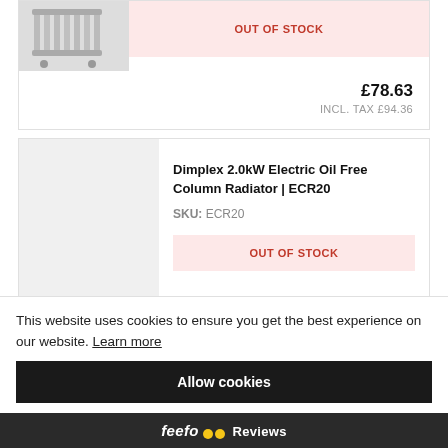[Figure (photo): Product image of an oil-filled radiator heater on wheels, white/grey color]
OUT OF STOCK
£78.63
INCL. TAX £94.36
Dimplex 2.0kW Electric Oil Free Column Radiator | ECR20
SKU: ECR20
OUT OF STOCK
This website uses cookies to ensure you get the best experience on our website. Learn more
Allow cookies
feefo Reviews